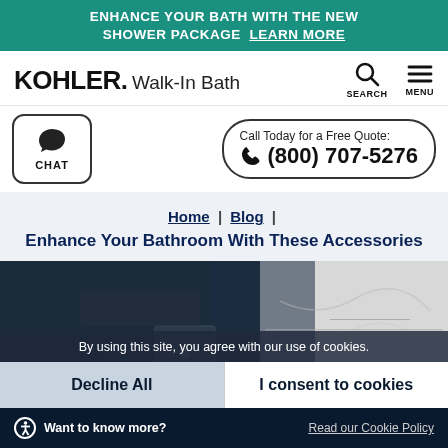ENHANCE YOUR BATH WITH THE NEW SHOWER PACKAGE LEARN MORE
[Figure (logo): KOHLER Walk-In Bath logo with search and menu icons]
[Figure (screenshot): Chat button and phone call-to-action button showing (800) 707-5276]
Home | Blog | Enhance Your Bathroom With These Accessories
[Figure (photo): Split hero image showing dark bathroom on left and white marble surface on right]
By using this site, you agree with our use of cookies.
Decline All | I consent to cookies
Want to know more?  Read our Cookie Policy